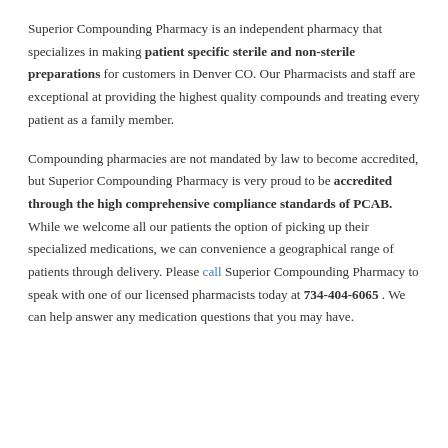Superior Compounding Pharmacy is an independent pharmacy that specializes in making patient specific sterile and non-sterile preparations for customers in Denver CO. Our Pharmacists and staff are exceptional at providing the highest quality compounds and treating every patient as a family member.
Compounding pharmacies are not mandated by law to become accredited, but Superior Compounding Pharmacy is very proud to be accredited through the high comprehensive compliance standards of PCAB. While we welcome all our patients the option of picking up their specialized medications, we can convenience a geographical range of patients through delivery. Please call Superior Compounding Pharmacy to speak with one of our licensed pharmacists today at 734-404-6065 . We can help answer any medication questions that you may have.